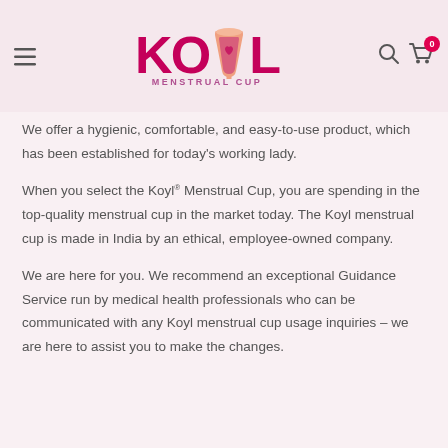[Figure (logo): Koyl Menstrual Cup logo with pink cup icon and text]
We offer a hygienic, comfortable, and easy-to-use product, which has been established for today's working lady.
When you select the Koyl® Menstrual Cup, you are spending in the top-quality menstrual cup in the market today. The Koyl menstrual cup is made in India by an ethical, employee-owned company.
We are here for you. We recommend an exceptional Guidance Service run by medical health professionals who can be communicated with any Koyl menstrual cup usage inquiries – we are here to assist you to make the changes.